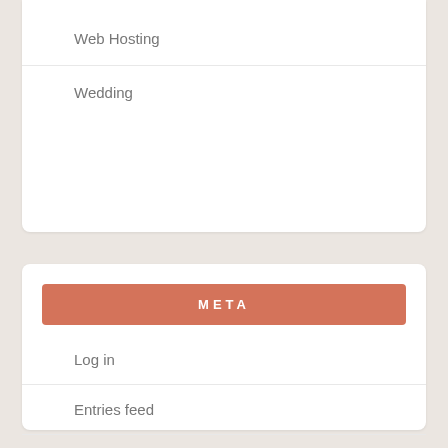Web Hosting
Wedding
META
Log in
Entries feed
Comments feed
WordPress.org